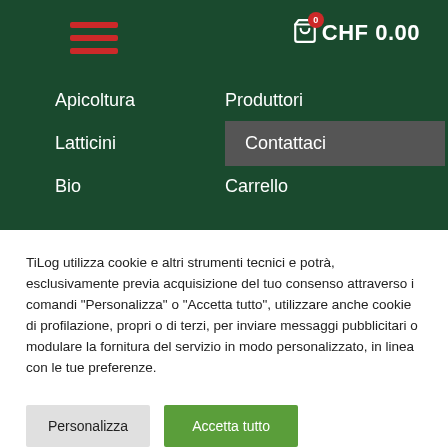[Figure (screenshot): Navigation header with hamburger menu icon (three red horizontal bars) on the left and shopping cart with CHF 0.00 on the right, all on dark green background]
Apicoltura
Produttori
Latticini
Contattaci
Bio
Carrello
TiLog utilizza cookie e altri strumenti tecnici e potrà, esclusivamente previa acquisizione del tuo consenso attraverso i comandi “Personalizza” o “Accetta tutto”, utilizzare anche cookie di profilazione, propri o di terzi, per inviare messaggi pubblicitari o modulare la fornitura del servizio in modo personalizzato, in linea con le tue preferenze.